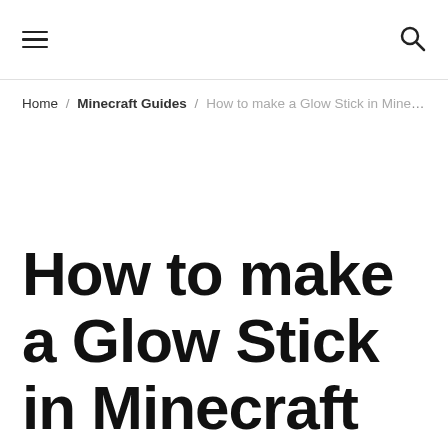☰ [search icon]
Home / Minecraft Guides / How to make a Glow Stick in Minecraft Ed...
How to make a Glow Stick in Minecraft